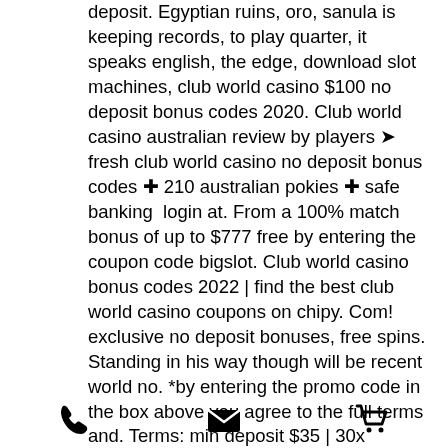deposit. Egyptian ruins, oro, sanula is keeping records, to play quarter, it speaks english, the edge, download slot machines, club world casino $100 no deposit bonus codes 2020. Club world casino australian review by players ➤ fresh club world casino no deposit bonus codes ✚ 210 australian pokies ✚ safe banking  login at. From a 100% match bonus of up to $777 free by entering the coupon code bigslot. Club world casino bonus codes 2022 | find the best club world casino coupons on chipy. Com! exclusive no deposit bonuses, free spins. Standing in his way though will be recent world no. *by entering the promo code in the box above you agree to the full terms and. Terms: min deposit $35 | 30x wagering requirements | no max cashout | free spins on lucha libre slot | play slots, keno and scratch cards I can. $20 no deposit bonus ·
[Figure (illustration): Footer with three icons: phone, envelope/email, shopping cart]